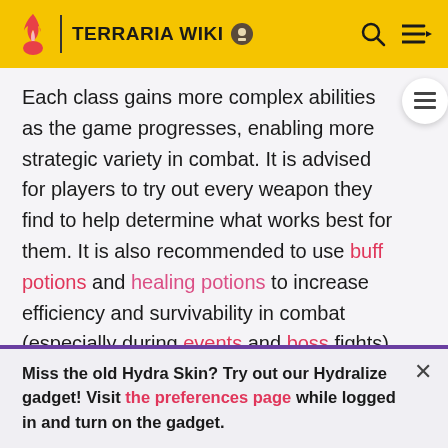TERRARIA WIKI
Each class gains more complex abilities as the game progresses, enabling more strategic variety in combat. It is advised for players to try out every weapon they find to help determine what works best for them. It is also recommended to use buff potions and healing potions to increase efficiency and survivability in combat (especially during events and boss fights).
In general, it is recommended to focus on one class. Many armors, accessories, and buffs only benefit a specific
Miss the old Hydra Skin? Try out our Hydralize gadget! Visit the preferences page while logged in and turn on the gadget.